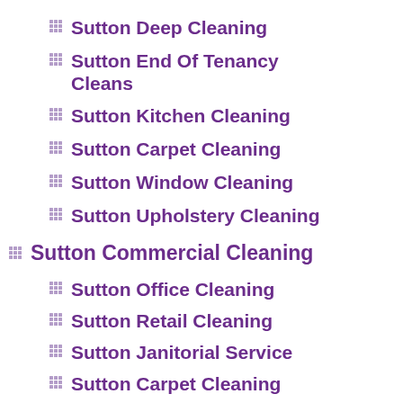Sutton Deep Cleaning
Sutton End Of Tenancy Cleans
Sutton Kitchen Cleaning
Sutton Carpet Cleaning
Sutton Window Cleaning
Sutton Upholstery Cleaning
Sutton Commercial Cleaning
Sutton Office Cleaning
Sutton Retail Cleaning
Sutton Janitorial Service
Sutton Carpet Cleaning
Sutton Removal Service